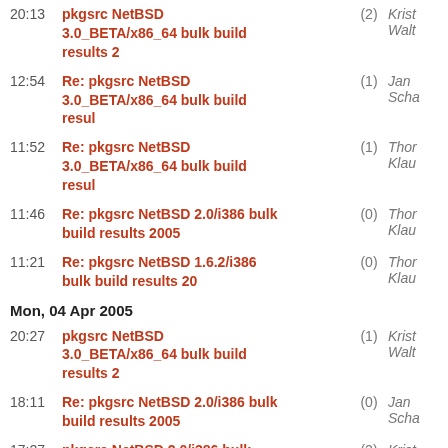20:13 pkgsrc NetBSD 3.0_BETA/x86_64 bulk build results 2 (2) Krist Walt
12:54 Re: pkgsrc NetBSD 3.0_BETA/x86_64 bulk build resul (1) Jan Scha
11:52 Re: pkgsrc NetBSD 3.0_BETA/x86_64 bulk build resul (1) Thor Klau
11:46 Re: pkgsrc NetBSD 2.0/i386 bulk build results 2005 (0) Thor Klau
11:21 Re: pkgsrc NetBSD 1.6.2/i386 bulk build results 20 (0) Thor Klau
Mon, 04 Apr 2005
20:27 pkgsrc NetBSD 3.0_BETA/x86_64 bulk build results 2 (1) Krist Walt
18:11 Re: pkgsrc NetBSD 2.0/i386 bulk build results 2005 (0) Jan Scha
17:27 pkgsrc NetBSD 2.0/i386 bulk build results 2005_04 (2) Krist Walt